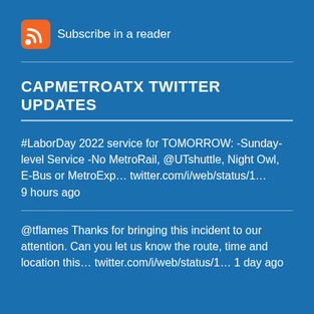[Figure (logo): RSS feed icon (orange square with white wifi/signal waves) followed by text 'Subscribe in a reader']
CAPMETROATX TWITTER UPDATES
#LaborDay 2022 service for TOMORROW: -Sunday-level Service -No MetroRail, @UTshuttle, Night Owl, E-Bus or MetroExp... twitter.com/i/web/status/1... 9 hours ago
@tflames Thanks for bringing this incident to our attention. Can you let us know the route, time and location this... twitter.com/i/web/status/1... 1 day ago